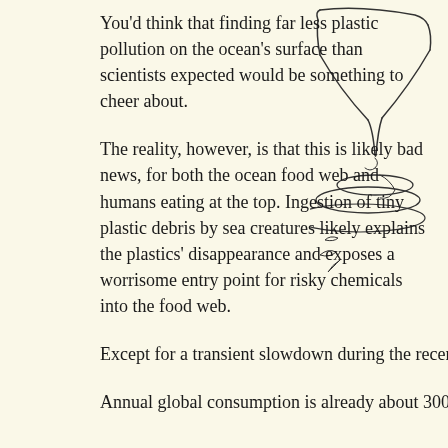You'd think that finding far less plastic pollution on the ocean's surface than scientists expected would be something to cheer about.
[Figure (illustration): A line drawing illustration showing a wine glass or funnel shape with swirling water ripples at the bottom, suggesting a whirlpool or vortex, with small sea creature-like shapes near the bottom.]
The reality, however, is that this is likely bad news, for both the ocean food web and humans eating at the top. Ingestion of tiny plastic debris by sea creatures likely explains the plastics' disappearance and exposes a worrisome entry point for risky chemicals into the food web.
Except for a transient slowdown during the recent economic rec... consumption has risen steadily since plastic materials were intro... subsequently incorporated into nearly every facet of modern life...
Annual global consumption is already about 300 million tons w... as markets expand in the Asia-Pacific region and new applicatio...